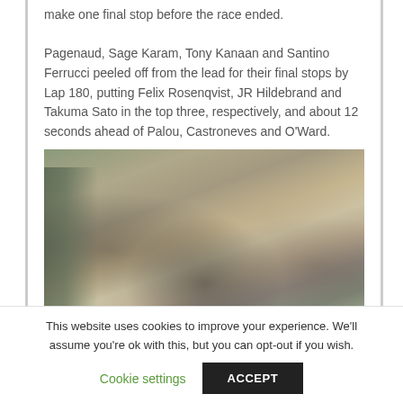make one final stop before the race ended. Pagenaud, Sage Karam, Tony Kanaan and Santino Ferrucci peeled off from the lead for their final stops by Lap 180, putting Felix Rosenqvist, JR Hildebrand and Takuma Sato in the top three, respectively, and about 12 seconds ahead of Palou, Castroneves and O'Ward.
[Figure (photo): Large crowd of spectators at a racing event, with a fenced track visible on the left side. Thousands of fans packed in grandstands, some with cameras, cheering.]
This website uses cookies to improve your experience. We'll assume you're ok with this, but you can opt-out if you wish.
Cookie settings | ACCEPT